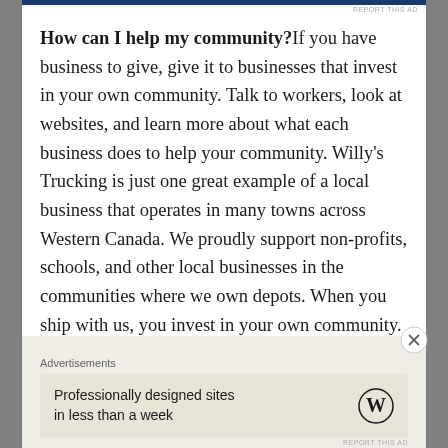How can I help my community? If you have business to give, give it to businesses that invest in your own community. Talk to workers, look at websites, and learn more about what each business does to help your community. Willy's Trucking is just one great example of a local business that operates in many towns across Western Canada. We proudly support non-profits, schools, and other local businesses in the communities where we own depots. When you ship with us, you invest in your own community. Here are just a few ways your dollars help the local economy and other non-profit organizations in our
Advertisements
Professionally designed sites in less than a week